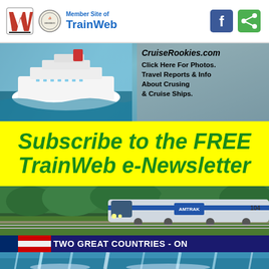Member Site of TrainWeb
[Figure (screenshot): CruiseRookies.com advertisement with cruise ship photo and text: CruiseRookies.com Click Here For Photos. Travel Reports & Info About Crusing & Cruise Ships.]
Subscribe to the FREE TrainWeb e-Newsletter
[Figure (photo): Amtrak passenger train traveling through green landscape]
TWO GREAT COUNTRIES - ON
[Figure (photo): Niagara Falls waterfall view]